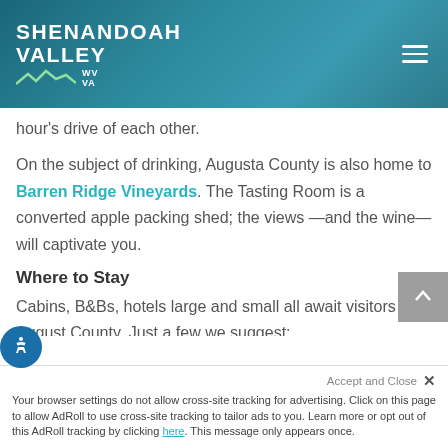SHENANDOAH VALLEY WV VA
hour's drive of each other.
On the subject of drinking, Augusta County is also home to Barren Ridge Vineyards. The Tasting Room is a converted apple packing shed; the views —and the wine— will captivate you.
Where to Stay
Cabins, B&Bs, hotels large and small all await visitors to August County. Just a few we suggest:
The Iris Inn
Your browser settings do not allow cross-site tracking for advertising. Click on this page to allow AdRoll to use cross-site tracking to tailor ads to you. Learn more or opt out of this AdRoll tracking by clicking here. This message only appears once.